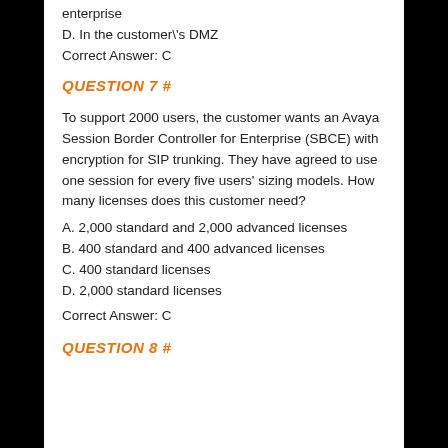enterprise
D. In the customer\'s DMZ
Correct Answer: C
QUESTION 7 #
To support 2000 users, the customer wants an Avaya Session Border Controller for Enterprise (SBCE) with encryption for SIP trunking. They have agreed to use one session for every five users' sizing models. How many licenses does this customer need?
A. 2,000 standard and 2,000 advanced licenses
B. 400 standard and 400 advanced licenses
C. 400 standard licenses
D. 2,000 standard licenses
Correct Answer: C
QUESTION 8 #